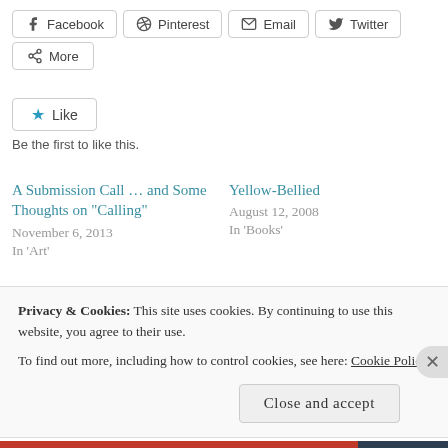Facebook
Pinterest
Email
Twitter
More
Be the first to like this.
A Submission Call … and Some Thoughts on “Calling”
November 6, 2013
In 'Art'
Yellow-Bellied
August 12, 2008
In 'Books'
Cashing In or Selling Out?
Privacy & Cookies: This site uses cookies. By continuing to use this website, you agree to their use.
To find out more, including how to control cookies, see here: Cookie Policy